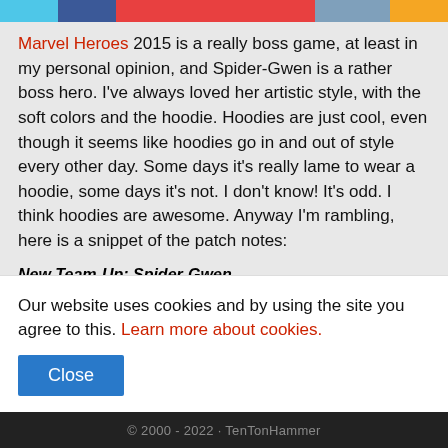[Figure (other): Navigation bar with colored tab segments: cyan, blue, red, red, steel-blue, orange]
Marvel Heroes 2015 is a really boss game, at least in my personal opinion, and Spider-Gwen is a rather boss hero. I've always loved her artistic style, with the soft colors and the hoodie. Hoodies are just cool, even though it seems like hoodies go in and out of style every other day. Some days it's really lame to wear a hoodie, some days it's not. I don't know! It's odd. I think hoodies are awesome. Anyway I'm rambling, here is a snippet of the patch notes:
New Team-Up: Spider-Gwen
Spider-Gwen joins the Team-Up roster of Marvel Heroes
Our website uses cookies and by using the site you agree to this. Learn more about cookies.
Close
© 2000 - 2022 · TenTonHammer